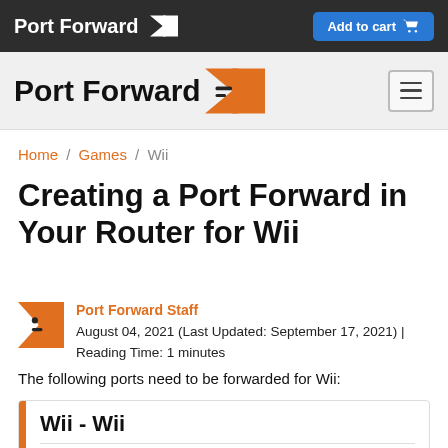Port Forward | Add to cart
Port Forward (logo with menu hamburger)
Home / Games / Wii
Creating a Port Forward in Your Router for Wii
Port Forward Staff
August 04, 2021 (Last Updated: September 17, 2021) | Reading Time: 1 minutes
The following ports need to be forwarded for Wii:
Wii - Wii
TCP: 6667, 12400, 28910, 29900, 29901